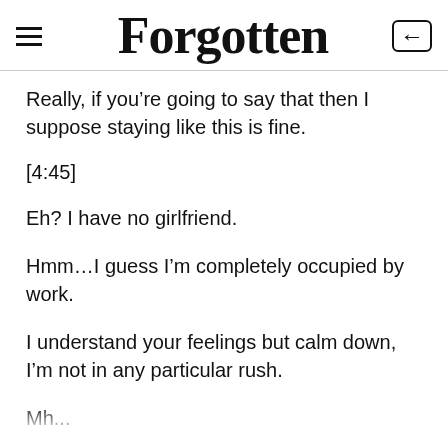Forgotten
Really, if you're going to say that then I suppose staying like this is fine.
[4:45]
Eh? I have no girlfriend.
Hmm…I guess I'm completely occupied by work.
I understand your feelings but calm down, I'm not in any particular rush.
Mh...